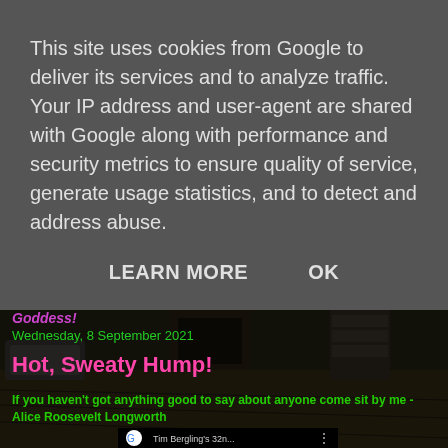This site uses cookies from Google to deliver its services and to analyze traffic. Your IP address and user-agent are shared with Google along with performance and security metrics to ensure quality of service, generate usage statistics, and to detect and address abuse.
LEARN MORE    OK
Goddess!
Wednesday, 8 September 2021
Hot, Sweaty Hump!
If you haven't got anything good to say about anyone come sit by me -Alice Roosevelt Longworth
[Figure (screenshot): YouTube video thumbnail showing 'Tim Bergling's 32n...' with Google logo, three-dot menu, and a person visible in the video frame with colorful bar chart elements and a red play button overlay.]